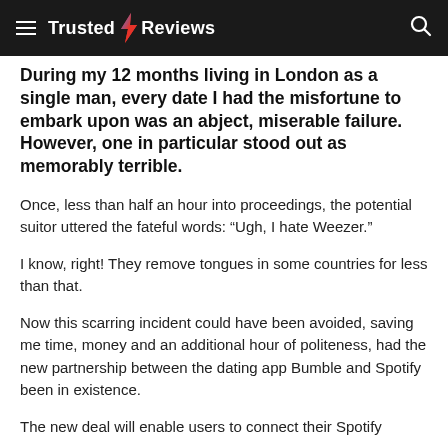Trusted Reviews
During my 12 months living in London as a single man, every date I had the misfortune to embark upon was an abject, miserable failure. However, one in particular stood out as memorably terrible.
Once, less than half an hour into proceedings, the potential suitor uttered the fateful words: “Ugh, I hate Weezer.”
I know, right! They remove tongues in some countries for less than that.
Now this scarring incident could have been avoided, saving me time, money and an additional hour of politeness, had the new partnership between the dating app Bumble and Spotify been in existence.
The new deal will enable users to connect their Spotify